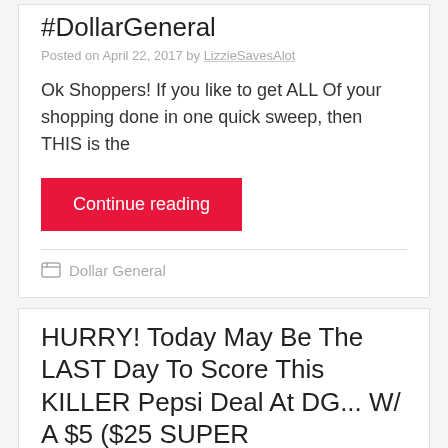#DollarGeneral
Posted on April 22, 2017 by LizzieSavesAlot
Ok Shoppers! If you like to get ALL Of your shopping done in one quick sweep, then THIS is the
Continue reading
Dollar General
HURRY! Today May Be The LAST Day To Score This KILLER Pepsi Deal At DG... W/ A $5 ($25 SUPER